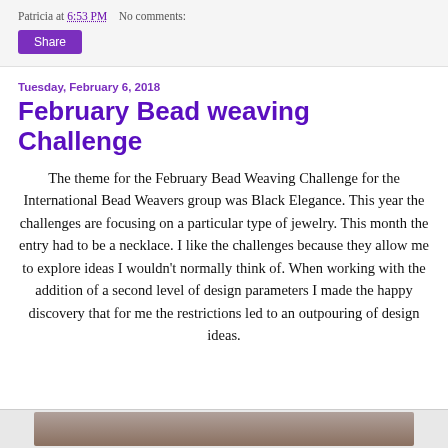Patricia at 6:53 PM    No comments:
Share
Tuesday, February 6, 2018
February Bead weaving Challenge
The theme for the February Bead Weaving Challenge for the International Bead Weavers group was Black Elegance. This year the challenges are focusing on a particular type of jewelry. This month the entry had to be a necklace. I like the challenges because they allow me to explore ideas I wouldn't normally think of. When working with the addition of a second level of design parameters I made the happy discovery that for me the restrictions led to an outpouring of design ideas.
[Figure (photo): Bottom partial image strip showing a bead weaving or jewelry photograph]